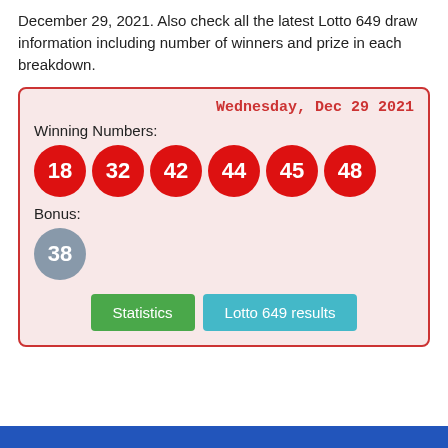December 29, 2021. Also check all the latest Lotto 649 draw information including number of winners and prize in each breakdown.
[Figure (infographic): Lotto 649 winning numbers box for Wednesday, Dec 29 2021. Winning Numbers: 18, 32, 42, 44, 45, 48 (red circles). Bonus: 38 (grey circle). Buttons: Statistics (green), Lotto 649 results (teal).]
[Figure (other): Blue bar at the bottom of the page.]